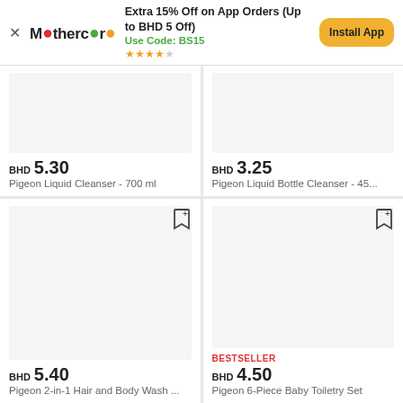Extra 15% Off on App Orders (Up to BHD 5 Off)
Use Code: BS15
★★★★☆
BHD 5.30
Pigeon Liquid Cleanser - 700 ml
BHD 3.25
Pigeon Liquid Bottle Cleanser - 45...
BHD 5.40
Pigeon 2-in-1 Hair and Body Wash ...
BESTSELLER
BHD 4.50
Pigeon 6-Piece Baby Toiletry Set